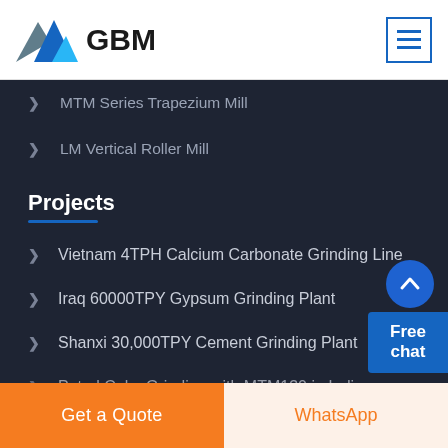[Figure (logo): GBM logo with blue/grey mountain graphic and bold GBM text]
MTM Series Trapezium Mill
LM Vertical Roller Mill
Projects
Vietnam 4TPH Calcium Carbonate Grinding Line
Iraq 60000TPY Gypsum Grinding Plant
Shanxi 30,000TPY Cement Grinding Plant
Petrol Coke Grinding with MTM130 in India
Get a Quote
WhatsApp